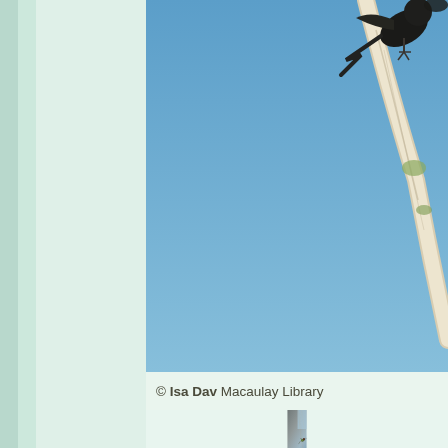[Figure (photo): A dark bird perched on a thin white branch against a bright blue sky, viewed from an angle with the bird near the top right.]
© Isa Dav Macaulay Library
[Figure (photo): A small hummingbird with green and brown plumage perched on thin twigs, against a blurred grey and blue background.]